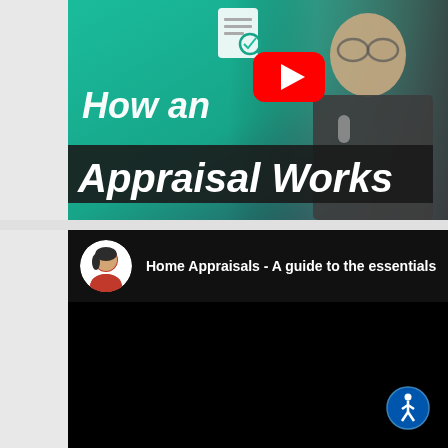[Figure (screenshot): YouTube video thumbnail showing 'How an Appraisal Works' with a teal/green gradient background, a man in a checkered shirt on the right, a YouTube play button in the center, and a document icon at the top center. Bold white italic text reads 'How an' and 'Appraisal Works' on a dark banner.]
[Figure (screenshot): YouTube video player (dark/black) showing channel avatar (woman with dark hair) and title 'Home Appraisals - A guide to the essentials'. The video area is black. An accessibility/wheelchair icon button appears in the bottom right corner.]